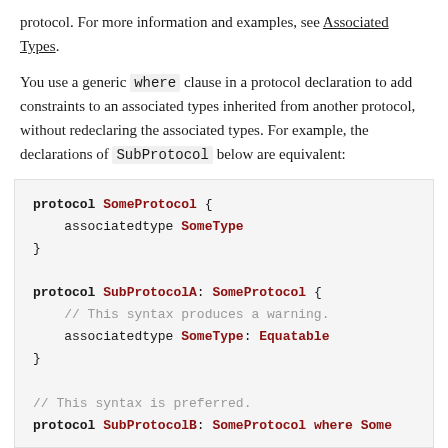protocol. For more information and examples, see Associated Types.
You use a generic where clause in a protocol declaration to add constraints to an associated types inherited from another protocol, without redeclaring the associated types. For example, the declarations of SubProtocol below are equivalent:
protocol SomeProtocol {
    associatedtype SomeType
}

protocol SubProtocolA: SomeProtocol {
    // This syntax produces a warning.
    associatedtype SomeType: Equatable
}

// This syntax is preferred.
protocol SubProtocolB: SomeProtocol where Some
See also Type Alias Declaration.